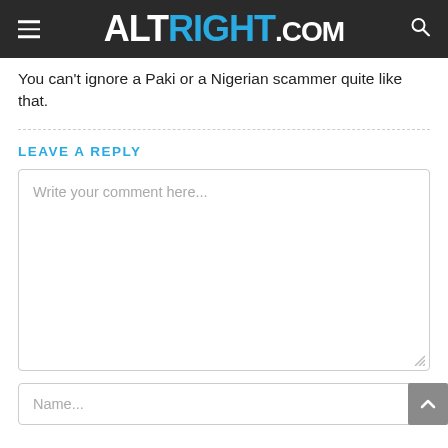ALTRIGHT.COM
You can't ignore a Paki or a Nigerian scammer quite like that.
LEAVE A REPLY
Write your comment here...
Name...